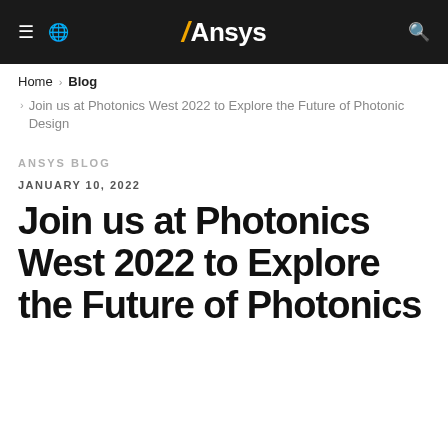Ansys
Home › Blog
› Join us at Photonics West 2022 to Explore the Future of Photonic Design
ANSYS BLOG
JANUARY 10, 2022
Join us at Photonics West 2022 to Explore the Future of Photonics